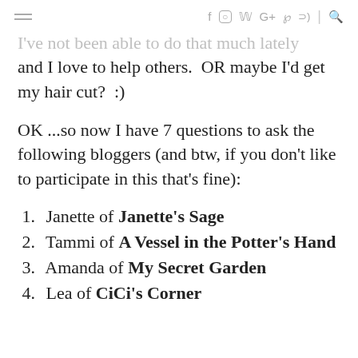≡  f  ○  𝕎  G+  ℘  ⊃  |  🔍
I've not been able to do that much lately and I love to help others.  OR maybe I'd get my hair cut?  :)
OK ...so now I have 7 questions to ask the following bloggers (and btw, if you don't like to participate in this that's fine):
1.  Janette of Janette's Sage
2.  Tammi of A Vessel in the Potter's Hand
3.  Amanda of My Secret Garden
4.  Lea of CiCi's Corner